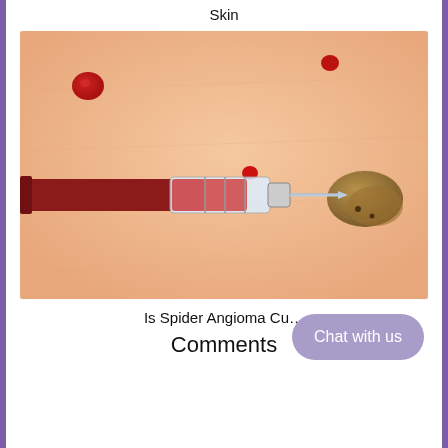Skin
[Figure (photo): Close-up photo of human skin showing cherry angiomas (small red spots) and a mole, with a medical syringe/needle approaching the mole for treatment.]
Is Spider Angioma Cu...
Comments